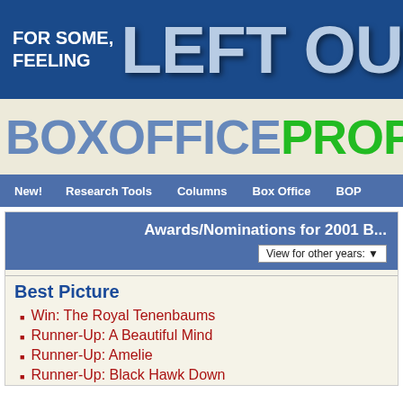[Figure (screenshot): BoxOfficeProphets website header banner with blue background saying FOR SOME, FEELING LEFT OUT LAS- THA-]
[Figure (logo): BoxOfficeProphets logo with blue BOXOFFICE and green PROPHETS text]
New! | Research Tools | Columns | Box Office | BOP
Awards/Nominations for 2001 B...
View for other years:
Best Picture
Win: The Royal Tenenbaums
Runner-Up: A Beautiful Mind
Runner-Up: Amelie
Runner-Up: Black Hawk Down